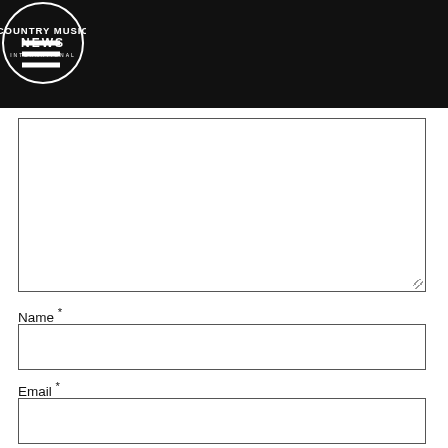COUNTRY MUSIC NEWS INTERNATIONAL
[Figure (other): Text area input box for comment]
Name *
[Figure (other): Name input text field]
Email *
[Figure (other): Email input text field]
Save my name, email, and website in this browser for the next time I comment.